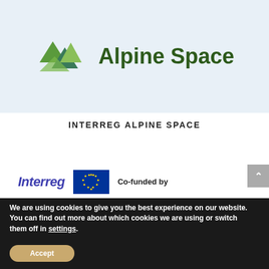[Figure (logo): Interreg Alpine Space logo with geometric mountain shapes in green and teal, with 'Alpine Space' in dark green bold text]
INTERREG ALPINE SPACE
[Figure (logo): Interreg wordmark in italic purple/blue, EU flag icon in blue rectangle with gold stars, and 'Co-funded by' text]
We are using cookies to give you the best experience on our website.
You can find out more about which cookies we are using or switch them off in settings.
Accept